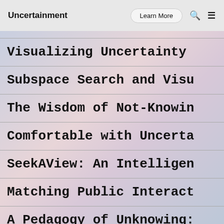Uncertainment | Learn More | search | menu
Visualizing Uncertainty
Subspace Search and Visu
The Wisdom of Not-Knowin
Comfortable with Uncerta
SeekAView: An Intelligen
Matching Public Interact
A Pedagogy of Unknowing: